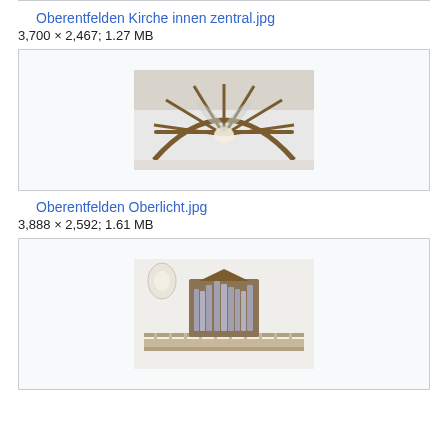Oberentfelden Kirche innen zentral.jpg
3,700 × 2,467; 1.27 MB
[Figure (photo): Interior of a church showing a large fan/rose window with wooden frames radiating from a central light source, viewed from below.]
Oberentfelden Oberlicht.jpg
3,888 × 2,592; 1.61 MB
[Figure (photo): Interior of a church showing a pipe organ on a balcony with white walls and wooden pipes arranged in a decorative pattern.]